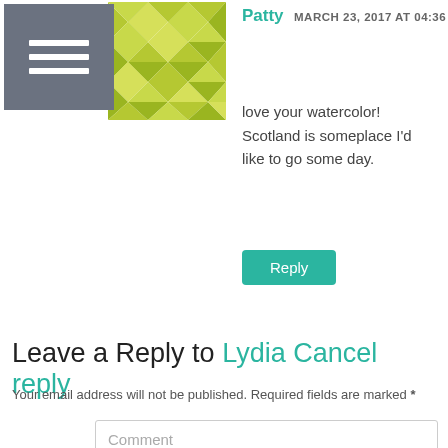[Figure (illustration): Hamburger menu icon (three horizontal white lines on grey square background) next to a quilt/diamond pattern avatar in yellow-green colors]
Patty  MARCH 23, 2017 AT 04:36
love your watercolor! Scotland is someplace I'd like to go some day.
Reply
Leave a Reply to Lydia  Cancel reply
Your email address will not be published. Required fields are marked *
Comment